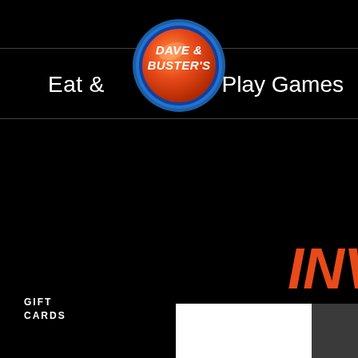[Figure (logo): Dave & Buster's circular logo with orange/red gradient and blue ring]
Eat &
Play Games
GIFT
CARDS
INVESTOR
INVESTOR RELATIONS
PRESS RELEASES
EVENTS & PRESENTATIONS